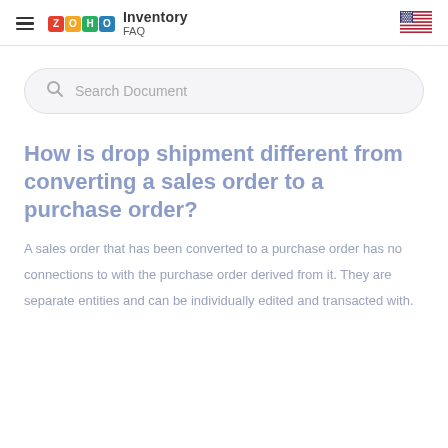ZOHO Inventory FAQ
[Figure (screenshot): Search bar with placeholder text 'Search Document']
How is drop shipment different from converting a sales order to a purchase order?
A sales order that has been converted to a purchase order has no connections to with the purchase order derived from it. They are separate entities and can be individually edited and transacted with.